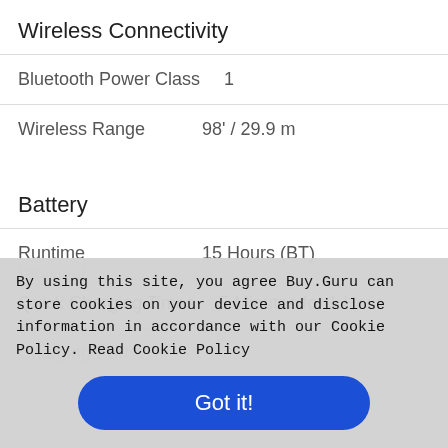Wireless Connectivity
| Spec | Value |
| --- | --- |
| Bluetooth Power Class | 1 |
| Wireless Range | 98' / 29.9 m |
Battery
| Spec | Value |
| --- | --- |
| Runtime | 15 Hours (BT) |
| Quick Charging Times | 5 Minutes for 1 Hour |
| Charging Port | Lightning |
Physical
Weight
By using this site, you agree Buy.Guru can store cookies on your device and disclose information in accordance with our Cookie Policy. Read Cookie Policy
Got it!